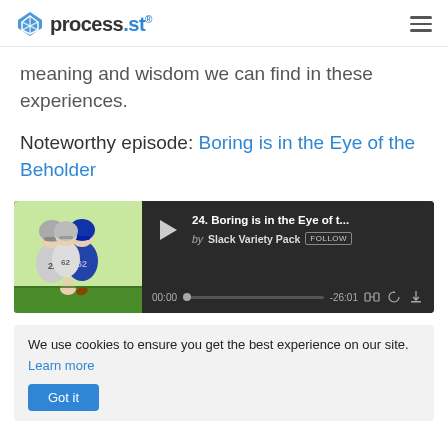process.st
meaning and wisdom we can find in these experiences.
Noteworthy episode: Boring is in the Eye of the Beholder
[Figure (screenshot): Audio player embed showing episode '24. Boring is in the Eye of t...' by Slack Variety Pack with a FOLLOW button, play button, progress bar at 00:00, and -26:01 remaining, with a comic football illustration thumbnail.]
We use cookies to ensure you get the best experience on our site. Learn more
Got it